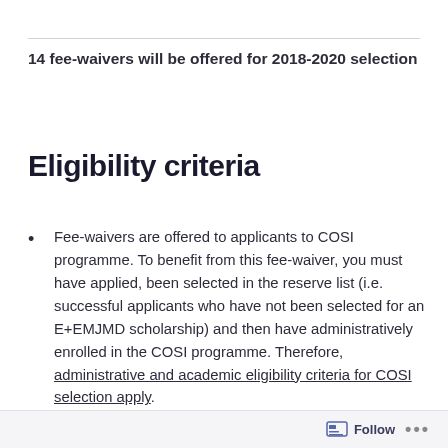14 fee-waivers will be offered for 2018-2020 selection
Eligibility criteria
Fee-waivers are offered to applicants to COSI programme. To benefit from this fee-waiver, you must have applied, been selected in the reserve list (i.e. successful applicants who have not been selected for an E+EMJMD scholarship) and then have administratively enrolled in the COSI programme. Therefore, administrative and academic eligibility criteria for COSI selection apply.
Follow ...